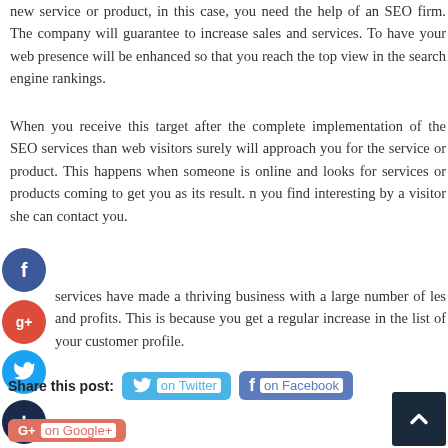new service or product, in this case, you need the help of an SEO firm. The company will guarantee to increase sales and services. To have your web presence will be enhanced so that you reach the top view in the search engine rankings.
When you receive this target after the complete implementation of the SEO services than web visitors surely will approach you for the service or product. This happens when someone is online and looks for services or products coming to get you as its result. n you find interesting by a visitor she can contact you.
services have made a thriving business with a large number of les and profits. This is because you get a regular increase in the list of your customer profile.
[Figure (infographic): Social media floating share icons: Facebook (blue circle with f), Google+ (red circle with g+), Twitter (blue circle with bird), Add/More (dark circle with +)]
Share this post:   on Twitter   on Facebook   on Google+